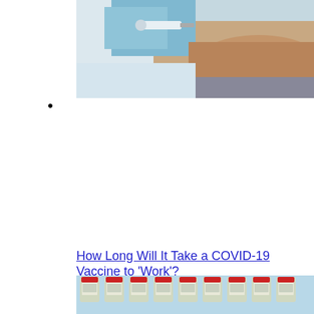[Figure (photo): Close-up photo of a person receiving a COVID-19 vaccine injection in the arm, with a gloved hand holding a syringe. The background shows a clinical setting.]
•
How Long Will It Take a COVID-19 Vaccine to 'Work'?
[Figure (photo): Repeating pattern of COVID-19 vaccine vials arranged in a grid on a light blue background. The vials have red caps and white labels.]